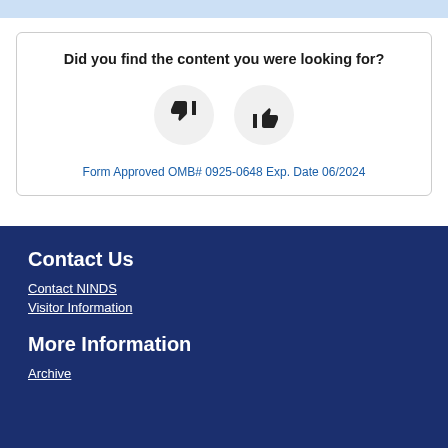Did you find the content you were looking for?
[Figure (illustration): Two circular buttons: thumbs down on the left and thumbs up on the right, for user feedback]
Form Approved OMB# 0925-0648 Exp. Date 06/2024
Contact Us
Contact NINDS
Visitor Information
More Information
Archive